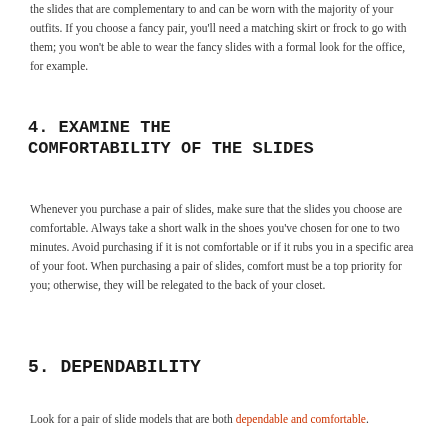the slides that are complementary to and can be worn with the majority of your outfits. If you choose a fancy pair, you'll need a matching skirt or frock to go with them; you won't be able to wear the fancy slides with a formal look for the office, for example.
4. EXAMINE THE COMFORTABILITY OF THE SLIDES
Whenever you purchase a pair of slides, make sure that the slides you choose are comfortable. Always take a short walk in the shoes you've chosen for one to two minutes. Avoid purchasing if it is not comfortable or if it rubs you in a specific area of your foot. When purchasing a pair of slides, comfort must be a top priority for you; otherwise, they will be relegated to the back of your closet.
5. DEPENDABILITY
Look for a pair of slide models that are both dependable and comfortable. Recommend at home by some model of slides that will provide you with...